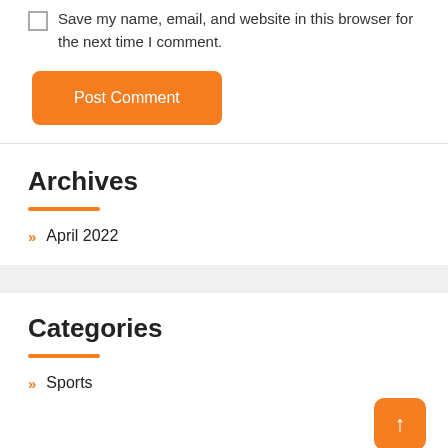Save my name, email, and website in this browser for the next time I comment.
Post Comment
Archives
» April 2022
Categories
» Sports